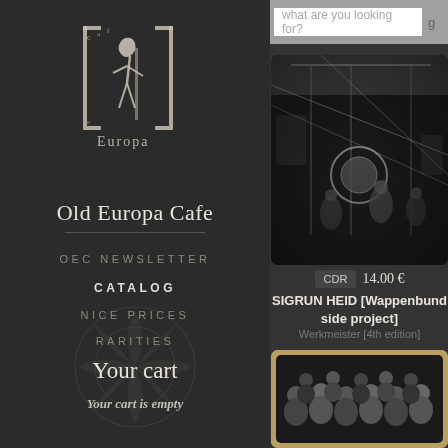[Figure (logo): Old Europa Cafe logo — stylized figure with text 'Europa']
Old Europa Cafe
OEC NEWSLETTER
CATALOG
NICE PRICES
RARITIES
Your cart
Your cart is empty
what are you looking for?
[Figure (photo): Black and white vintage photo of industrial machinery and workers]
CDR  14.00 €
SIGRUN HEID [Wappenbund side project]
Werkmeister [4th edition]
[Figure (photo): Vintage black and white photo of group of men in formal attire on tan/brown background]